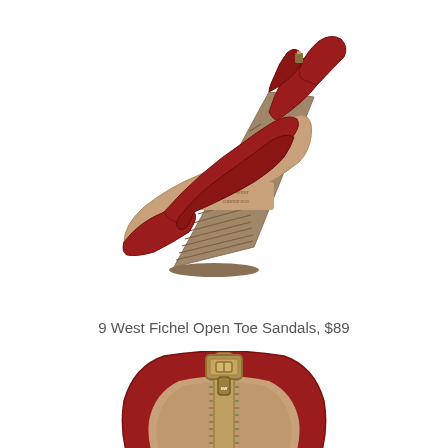[Figure (photo): Red Nine West Fichel open-toe wedge sandal shown from a 3/4 angle. The shoe features criss-cross straps over the toe area, a tan leather insole with the Nine West logo, and a stacked wood-look wedge heel. The upper and straps are deep red leather.]
9 West Fichel Open Toe Sandals, $89
[Figure (photo): Close-up rear view of the same red Nine West Fichel sandal, showing the back zipper detail in antique gold/brass finish, the red leather heel strap, a small rectangular logo tag at the bottom of the zipper, and the tan leather insole visible inside.]